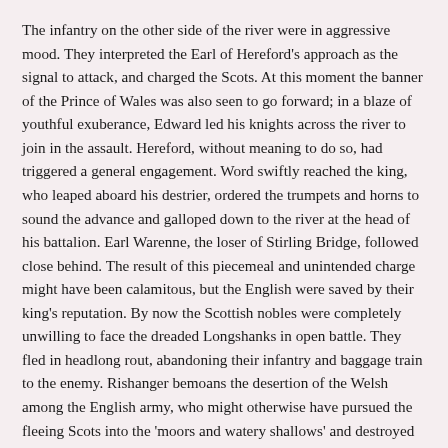The infantry on the other side of the river were in aggressive mood. They interpreted the Earl of Hereford's approach as the signal to attack, and charged the Scots. At this moment the banner of the Prince of Wales was also seen to go forward; in a blaze of youthful exuberance, Edward led his knights across the river to join in the assault. Hereford, without meaning to do so, had triggered a general engagement. Word swiftly reached the king, who leaped aboard his destrier, ordered the trumpets and horns to sound the advance and galloped down to the river at the head of his battalion. Earl Warenne, the loser of Stirling Bridge, followed close behind. The result of this piecemeal and unintended charge might have been calamitous, but the English were saved by their king's reputation. By now the Scottish nobles were completely unwilling to face the dreaded Longshanks in open battle. They fled in headlong rout, abandoning their infantry and baggage train to the enemy. Rishanger bemoans the desertion of the Welsh among the English army, who might otherwise have pursued the fleeing Scots into the 'moors and watery shallows' and destroyed them forever.
After this encouraging start, young Edward may well have felt that warfare suited him. The war fizzled out, but was renewed again the